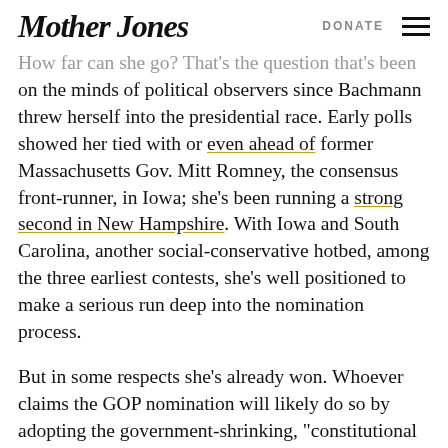Mother Jones | DONATE
How far can she go? That's the question that's been on the minds of political observers since Bachmann threw herself into the presidential race. Early polls showed her tied with or even ahead of former Massachusetts Gov. Mitt Romney, the consensus front-runner, in Iowa; she's been running a strong second in New Hampshire. With Iowa and South Carolina, another social-conservative hotbed, among the three earliest contests, she's well positioned to make a serious run deep into the nomination process.
But in some respects she's already won. Whoever claims the GOP nomination will likely do so by adopting the government-shrinking, "constitutional